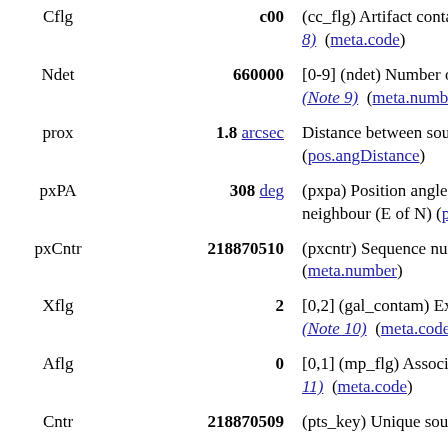| Name | Value | Description |
| --- | --- | --- |
| Cflg | c00 | (cc_flg) Artifact contamination, confusion (Note 8)  (meta.code) |
| Ndet | 660000 | [0-9] (ndet) Number of aperture measurements (jjhhkk) (Note 9)  (meta.number) |
| prox | 1.8 arcsec | Distance between source and nearest neighbour (pos.angDistance) |
| pxPA | 308 deg | (pxpa) Position angle of vector from source to nearest neighbour (E of N) (pos.posAng) |
| pxCntr | 218870510 | (pxcntr) Sequence number of nearest neighbour (meta.number) |
| Xflg | 2 | [0,2] (gal_contam) Extended source contamination (Note 10)  (meta.code) |
| Aflg | 0 | [0,1] (mp_flg) Association with asteroid or comet (Note 11)  (meta.code) |
| Cntr | 218870509 | (pts_key) Unique source |